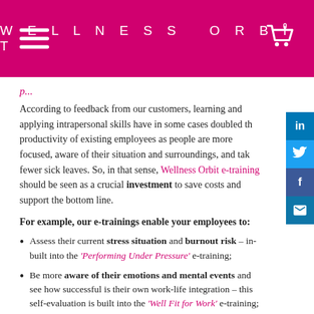WELLNESS ORBIT
According to feedback from our customers, learning and applying intrapersonal skills have in some cases doubled the productivity of existing employees as people are more focused, aware of their situation and surroundings, and take fewer sick leaves. So, in that sense, Wellness Orbit e-training should be seen as a crucial investment to save costs and support the bottom line.
For example, our e-trainings enable your employees to:
Assess their current stress situation and burnout risk – in-built into the 'Performing Under Pressure' e-training;
Be more aware of their emotions and mental events and see how successful is their own work-life integration – this self-evaluation is built into the 'Well Fit for Work' e-training;